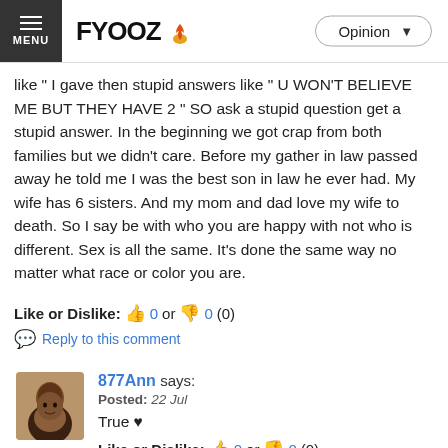FYOOZ — Opinion
like " I gave then stupid answers like " U WON'T BELIEVE ME BUT THEY HAVE 2 " SO ask a stupid question get a stupid answer. In the beginning we got crap from both families but we didn't care. Before my gather in law passed away he told me I was the best son in law he ever had. My wife has 6 sisters. And my mom and dad love my wife to death. So I say be with who you are happy with not who is different. Sex is all the same. It's done the same way no matter what race or color you are.
Like or Dislike: 0 or 0 (0)
Reply to this comment
877Ann says: Posted: 22 Jul
True ♥
Like or Dislike: 0 or 0 (0)
Reply to this comment